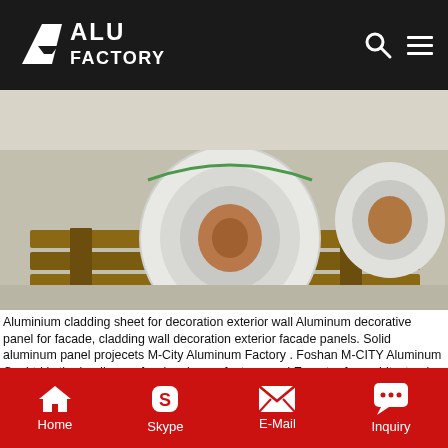ALU FACTORY
[Figure (photo): Large rolls of aluminium sheet coiled material sitting on wooden pallets on a warehouse floor]
Aluminium cladding sheet for decoration exterior wall Aluminum decorative panel for facade, cladding wall decoration exterior facade panels. Solid aluminum panel projecets M-City Aluminum Factory . Foshan M-CITY Aluminum Co.,Ltd is the leading professional manufacturer and Exporter for architectural Aluminum facade cladding panel in China, established in 2008, we specialized in the manufacturing Get Price
[Figure (photo): Blue aluminium cladding sheets with reflective surface arranged flat on a surface]
Home  Skype  E-Mail  Inquiry